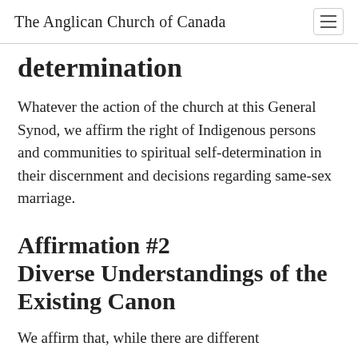The Anglican Church of Canada
determination
Whatever the action of the church at this General Synod, we affirm the right of Indigenous persons and communities to spiritual self-determination in their discernment and decisions regarding same-sex marriage.
Affirmation #2 Diverse Understandings of the Existing Canon
We affirm that, while there are different